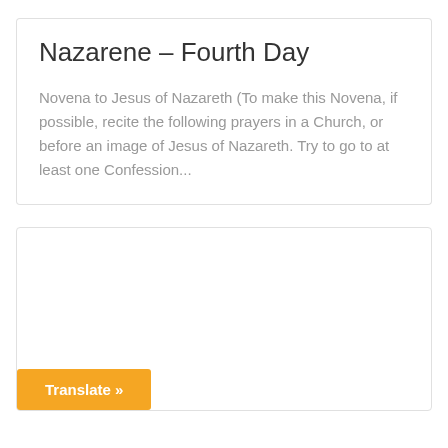Nazarene – Fourth Day
Novena to Jesus of Nazareth (To make this Novena, if possible, recite the following prayers in a Church, or before an image of Jesus of Nazareth. Try to go to at least one Confession...
[Figure (other): Empty white card box with an orange Translate button at the bottom left]